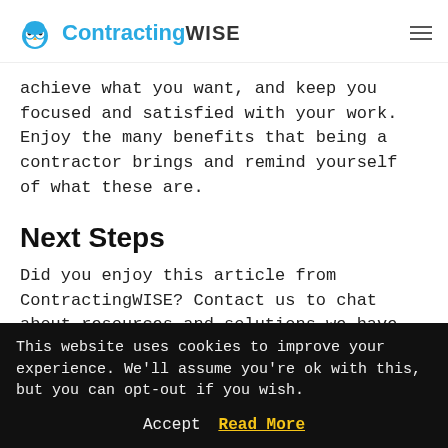ContractingWISE
achieve what you want, and keep you focused and satisfied with your work. Enjoy the many benefits that being a contractor brings and remind yourself of what these are.
Next Steps
Did you enjoy this article from ContractingWISE? Contact us to chat about resources and solutions we have for independent contractors like you. To speak to a member
This website uses cookies to improve your experience. We'll assume you're ok with this, but you can opt-out if you wish.
Accept  Read More